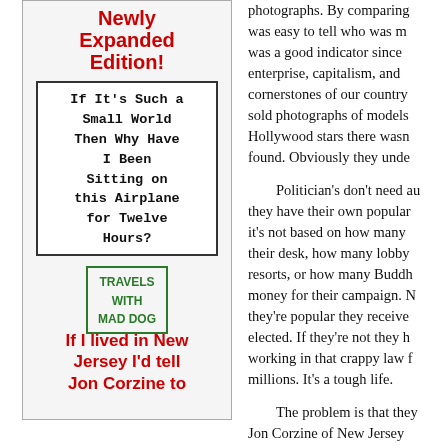[Figure (illustration): Book cover for 'If It's Such a Small World Then Why Have I Been Sitting on this Airplane for Twelve Hours? Travels with Mad Dog' — Newly Expanded Edition! label in red, title in monospace typewriter font in a bordered box, green rubber-stamp style 'TRAVELS WITH MAD DOG' text at bottom.]
If I lived in New Jersey I'd tell Jon Corzine to
photographs. By comparing it was easy to tell who was m was a good indicator since enterprise, capitalism, and cornerstones of our country sold photographs of models Hollywood stars there wasn found. Obviously they unde
Politician's don't need au they have their own popular it's not based on how many their desk, how many lobby resorts, or how many Buddh money for their campaign. N they're popular they receive elected. If they're not they h working in that crappy law f millions. It's a tough life.
The problem is that they Jon Corzine of New Jersey record $35 million to win the primary. This isn't the actua just the opportunity to run a